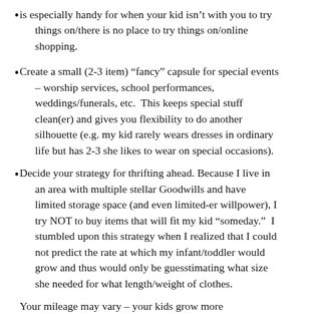is especially handy for when your kid isn't with you to try things on/there is no place to try things on/online shopping.
Create a small (2-3 item) “fancy” capsule for special events – worship services, school performances, weddings/funerals, etc.  This keeps special stuff clean(er) and gives you flexibility to do another silhouette (e.g. my kid rarely wears dresses in ordinary life but has 2-3 she likes to wear on special occasions).
Decide your strategy for thrifting ahead. Because I live in an area with multiple stellar Goodwills and have limited storage space (and even limited-er willpower), I try NOT to buy items that will fit my kid “someday.”  I stumbled upon this strategy when I realized that I could not predict the rate at which my infant/toddler would grow and thus would only be guesstimating what size she needed for what length/weight of clothes.
Your mileage may vary – your kids grow more